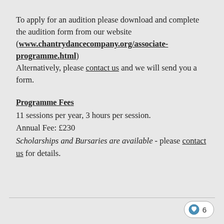To apply for an audition please download and complete the audition form from our website (www.chantrydancecompany.org/associate-programme.html)
Alternatively, please contact us and we will send you a form.
Programme Fees
11 sessions per year, 3 hours per session.
Annual Fee: £230
Scholarships and Bursaries are available - please contact us for details.